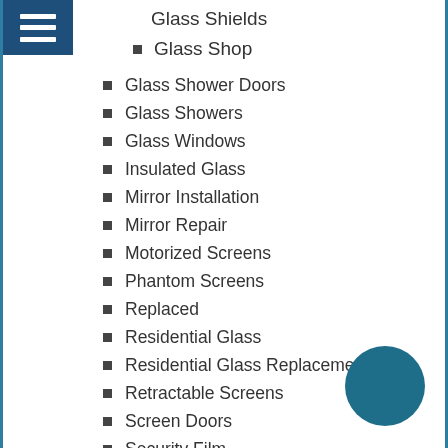Glass Shields
Glass Shop
Glass Shower Doors
Glass Showers
Glass Windows
Insulated Glass
Mirror Installation
Mirror Repair
Motorized Screens
Phantom Screens
Replaced
Residential Glass
Residential Glass Replacement
Retractable Screens
Screen Doors
Security Film
Shower Doors
Skylight Repair